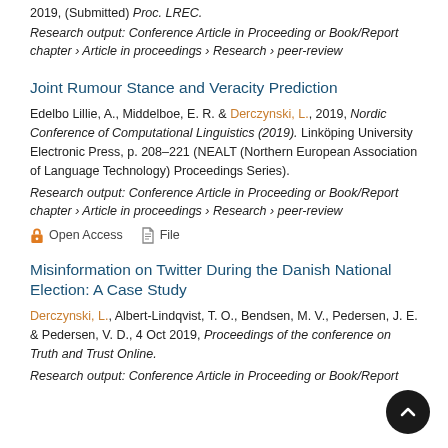2019, (Submitted) Proc. LREC.
Research output: Conference Article in Proceeding or Book/Report chapter › Article in proceedings › Research › peer-review
Joint Rumour Stance and Veracity Prediction
Edelbo Lillie, A., Middelboe, E. R. & Derczynski, L., 2019, Nordic Conference of Computational Linguistics (2019). Linköping University Electronic Press, p. 208–221 (NEALT (Northern European Association of Language Technology) Proceedings Series).
Research output: Conference Article in Proceeding or Book/Report chapter › Article in proceedings › Research › peer-review
Open Access   File
Misinformation on Twitter During the Danish National Election: A Case Study
Derczynski, L., Albert-Lindqvist, T. O., Bendsen, M. V., Pedersen, J. E. & Pedersen, V. D., 4 Oct 2019, Proceedings of the conference on Truth and Trust Online.
Research output: Conference Article in Proceeding or Book/Report chapter